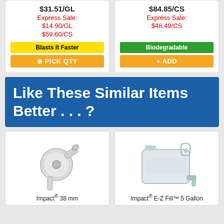$31.51/GL
Express Sale:
$14.90/GL
$59.60/CS
$84.85/CS
Express Sale:
$48.49/CS
Blasts It Faster
⊕ PICK QTY
Biodegradable
+ ADD
Like These Similar Items Better . . . ?
[Figure (photo): White plastic faucet/spigot tap, 38 mm fitting]
Impact® 38 mm
[Figure (photo): Translucent plastic 5 gallon water container jug with handle and spigot]
Impact® E-Z Fill™ 5 Gallon